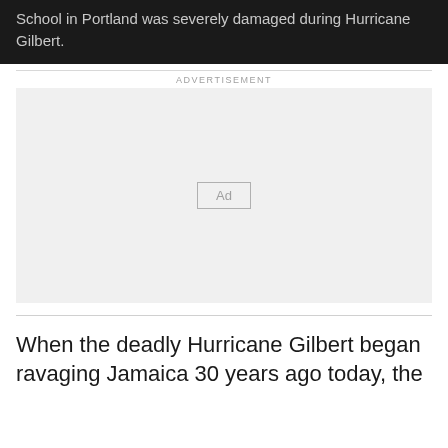School in Portland was severely damaged during Hurricane Gilbert.
[Figure (other): Advertisement placeholder box with 'Ad' button label]
When the deadly Hurricane Gilbert began ravaging Jamaica 30 years ago today, the